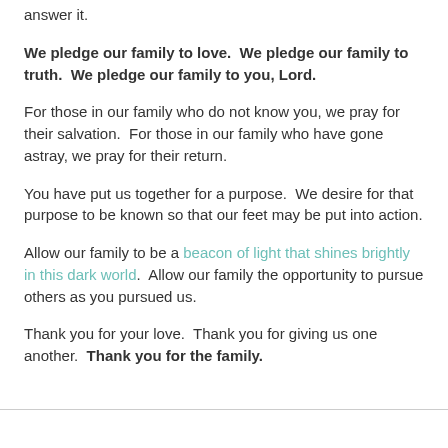answer it.
We pledge our family to love.  We pledge our family to truth.  We pledge our family to you, Lord.
For those in our family who do not know you, we pray for their salvation.  For those in our family who have gone astray, we pray for their return.
You have put us together for a purpose.  We desire for that purpose to be known so that our feet may be put into action.
Allow our family to be a beacon of light that shines brightly in this dark world.  Allow our family the opportunity to pursue others as you pursued us.
Thank you for your love.  Thank you for giving us one another.  Thank you for the family.